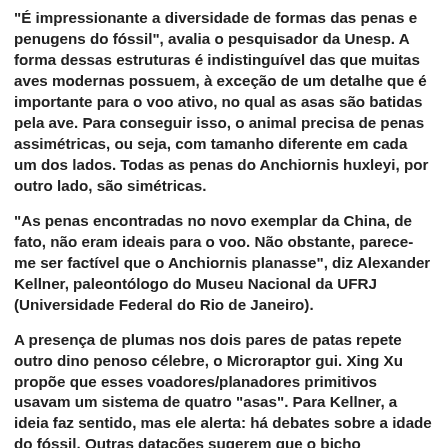"É impressionante a diversidade de formas das penas e penugens do fóssil", avalia o pesquisador da Unesp. A forma dessas estruturas é indistinguível das que muitas aves modernas possuem, à exceção de um detalhe que é importante para o voo ativo, no qual as asas são batidas pela ave. Para conseguir isso, o animal precisa de penas assimétricas, ou seja, com tamanho diferente em cada um dos lados. Todas as penas do Anchiornis huxleyi, por outro lado, são simétricas.
"As penas encontradas no novo exemplar da China, de fato, não eram ideais para o voo. Não obstante, parece-me ser factível que o Anchiornis planasse", diz Alexander Kellner, paleontólogo do Museu Nacional da UFRJ (Universidade Federal do Rio de Janeiro).
A presença de plumas nos dois pares de patas repete outro dino penoso célebre, o Microraptor gui. Xing Xu propõe que esses voadores/planadores primitivos usavam um sistema de quatro "asas". Para Kellner, a ideia faz sentido, mas ele alerta: há debates sobre a idade do fóssil. Outras datações sugerem que o bicho